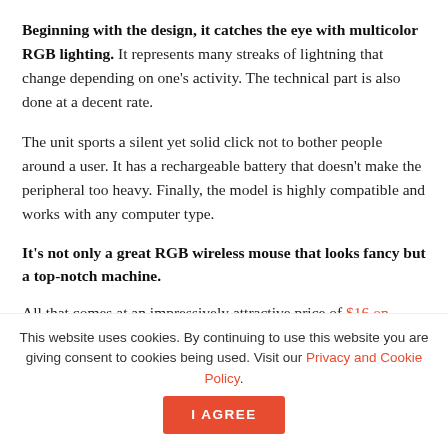Beginning with the design, it catches the eye with multicolor RGB lighting. It represents many streaks of lightning that change depending on one's activity. The technical part is also done at a decent rate.
The unit sports a silent yet solid click not to bother people around a user. It has a rechargeable battery that doesn't make the peripheral too heavy. Finally, the model is highly compatible and works with any computer type.
It's not only a great RGB wireless mouse that looks fancy but a top-notch machine.
All that comes at an impressively attractive price of $16 on Amazon. It's practically impossible to find any serious
This website uses cookies. By continuing to use this website you are giving consent to cookies being used. Visit our Privacy and Cookie Policy.